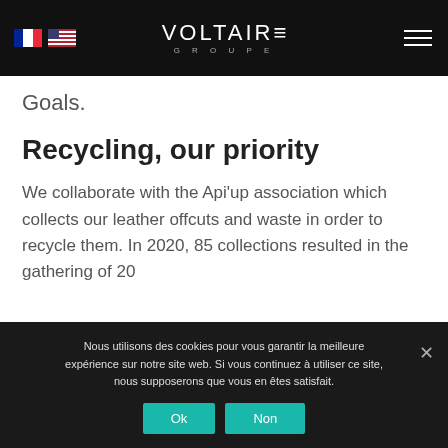VOLTAIRE GROUPE
Goals.
Recycling, our priority
We collaborate with the Api'up association which collects our leather offcuts and waste in order to recycle them. In 2020, 85 collections resulted in the gathering of 20
Nous utilisons des cookies pour vous garantir la meilleure expérience sur notre site web. Si vous continuez à utiliser ce site, nous supposerons que vous en êtes satisfait.